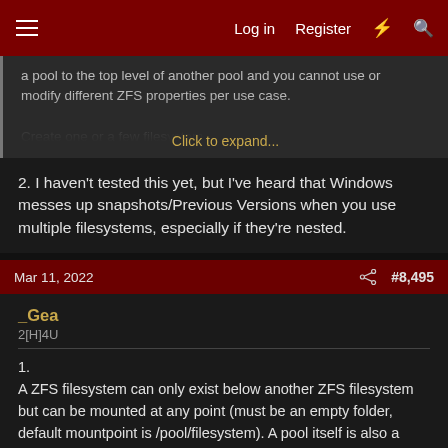Log in  Register  #8,495
a pool to the top level of another pool and you cannot use or modify different ZFS properties per use case.
Click to expand...
2. I haven't tested this yet, but I've heard that Windows messes up snapshots/Previous Versions when you use multiple filesystems, especially if they're nested.
Mar 11, 2022  #8,495
_Gea
2[H]4U
1.
A ZFS filesystem can only exist below another ZFS filesystem but can be mounted at any point (must be an empty folder, default mountpoint is /pool/filesystem). A pool itself is also a ZFS filesystem. This is no limitation, this is the